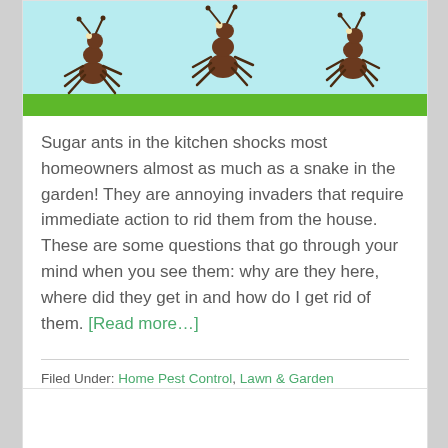[Figure (illustration): Cartoon illustration of sugar ants walking on green grass against a light blue background]
Sugar ants in the kitchen shocks most homeowners almost as much as a snake in the garden!  They are annoying invaders that require immediate action to rid them from the house.  These are some questions  that go through your mind when you see them: why are they here, where did they get in and how do I get rid of them. [Read more…]
Filed Under: Home Pest Control, Lawn & Garden
Tagged With: ant problems, non toxic ant traps, organic, outdoor ant traps, sugar ants, Terro ant traps